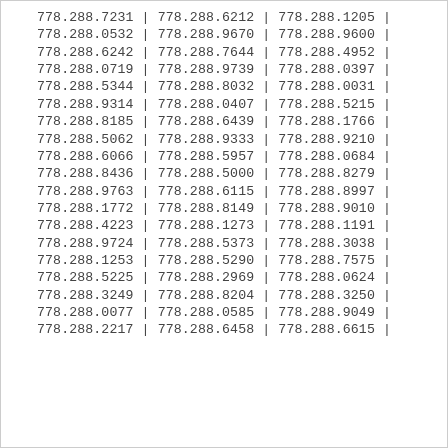| 778.288.7231 | 778.288.6212 | 778.288.1205 |
| 778.288.0532 | 778.288.9670 | 778.288.9600 |
| 778.288.6242 | 778.288.7644 | 778.288.4952 |
| 778.288.0719 | 778.288.9739 | 778.288.0397 |
| 778.288.5344 | 778.288.8032 | 778.288.0031 |
| 778.288.9314 | 778.288.0407 | 778.288.5215 |
| 778.288.8185 | 778.288.6439 | 778.288.1766 |
| 778.288.5062 | 778.288.9333 | 778.288.9210 |
| 778.288.6066 | 778.288.5957 | 778.288.0684 |
| 778.288.8436 | 778.288.5000 | 778.288.8279 |
| 778.288.9763 | 778.288.6115 | 778.288.8997 |
| 778.288.1772 | 778.288.8149 | 778.288.9010 |
| 778.288.4223 | 778.288.1273 | 778.288.1191 |
| 778.288.9724 | 778.288.5373 | 778.288.3038 |
| 778.288.1253 | 778.288.5290 | 778.288.7575 |
| 778.288.5225 | 778.288.2969 | 778.288.0624 |
| 778.288.3249 | 778.288.8204 | 778.288.3250 |
| 778.288.0077 | 778.288.0585 | 778.288.9049 |
| 778.288.2217 | 778.288.6458 | 778.288.6615 |